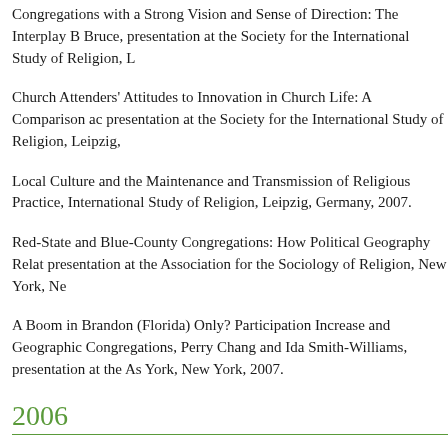Congregations with a Strong Vision and Sense of Direction: The Interplay Bruce, presentation at the Society for the International Study of Religion, L
Church Attenders' Attitudes to Innovation in Church Life: A Comparison ac presentation at the Society for the International Study of Religion, Leipzig,
Local Culture and the Maintenance and Transmission of Religious Practice, International Study of Religion, Leipzig, Germany, 2007.
Red-State and Blue-County Congregations: How Political Geography Relat presentation at the Association for the Sociology of Religion, New York, Ne
A Boom in Brandon (Florida) Only? Participation Increase and Geographic Congregations, Perry Chang and Ida Smith-Williams, presentation at the As York, New York, 2007.
2006
Journal of Beliefs & Values Special Issue: The International Congregational
Congregational Strengths and Subsequent Numerical Growth among Presby Chang and Ida Smith-Williams, presentation at the Religious Research Asso
Advocacy and Outreach:  Are the Same Worshipers Involved in Both? Debo Research Association, Portland, Oregon, 2006.